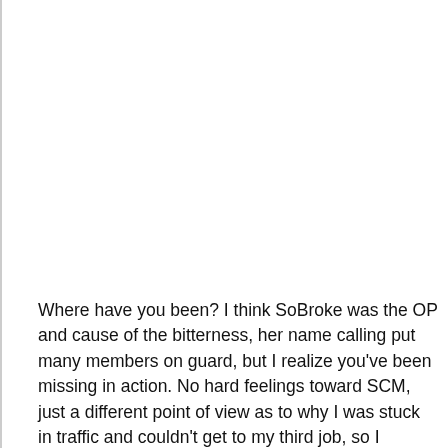Where have you been? I think SoBroke was the OP and cause of the bitterness, her name calling put many members on guard, but I realize you've been missing in action. No hard feelings toward SCM, just a different point of view as to why I was stuck in traffic and couldn't get to my third job, so I vent......but I sure saw a lot of him's.....haha The thread had been